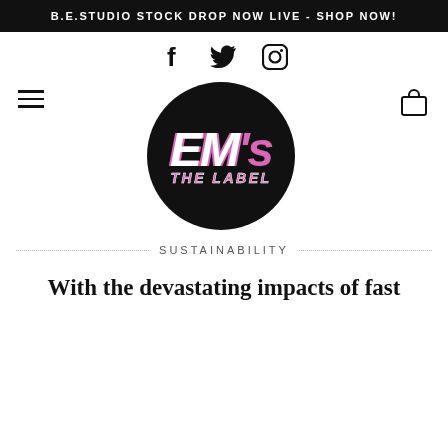B.E.STUDIO STOCK DROP NOW LIVE - SHOP NOW!
[Figure (illustration): Social media icons: Facebook (f), Twitter (bird), Instagram (camera circle)]
[Figure (logo): EM's THE LABEL logo - white and pink italic text on black circle]
SUSTAINABILITY
With the devastating impacts of fast